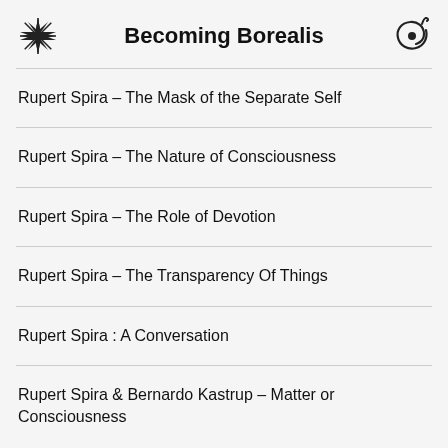Becoming Borealis
Rupert Spira – The Mask of the Separate Self
Rupert Spira – The Nature of Consciousness
Rupert Spira – The Role of Devotion
Rupert Spira – The Transparency Of Things
Rupert Spira : A Conversation
Rupert Spira & Bernardo Kastrup – Matter or Consciousness